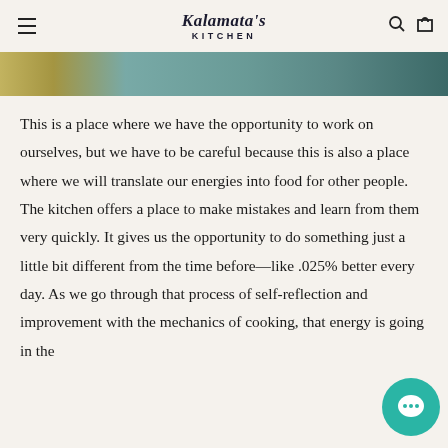Kalamata's Kitchen
[Figure (photo): Top portion of a kitchen photo visible as a strip at the top of the page]
This is a place where we have the opportunity to work on ourselves, but we have to be careful because this is also a place where we will translate our energies into food for other people. The kitchen offers a place to make mistakes and learn from them very quickly. It gives us the opportunity to do something just a little bit different from the time before—like .025% better every day. As we go through that process of self-reflection and improvement with the mechanics of cooking, that energy is going in the